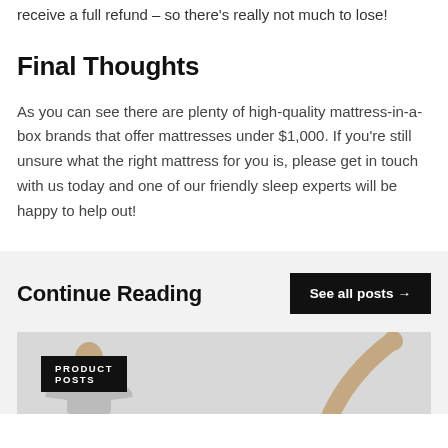receive a full refund – so there's really not much to lose!
Final Thoughts
As you can see there are plenty of high-quality mattress-in-a-box brands that offer mattresses under $1,000. If you're still unsure what the right mattress for you is, please get in touch with us today and one of our friendly sleep experts will be happy to help out!
Continue Reading
See all posts →
PRODUCT POSTS